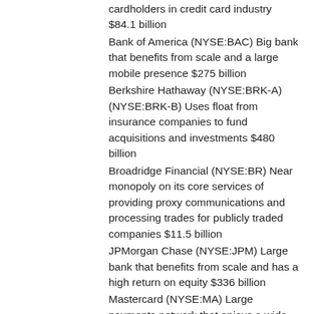cardholders in credit card industry $84.1 billion
Bank of America (NYSE:BAC) Big bank that benefits from scale and a large mobile presence $275 billion
Berkshire Hathaway (NYSE:BRK-A) (NYSE:BRK-B) Uses float from insurance companies to fund acquisitions and investments $480 billion
Broadridge Financial (NYSE:BR) Near monopoly on its core services of providing proxy communications and processing trades for publicly traded companies $11.5 billion
JPMorgan Chase (NYSE:JPM) Large bank that benefits from scale and has a high return on equity $336 billion
Mastercard (NYSE:MA) Large payments network that enjoys a wide economic moat $202 billion
Moody's (NYSE:MCO) Credit ratings agency that enjoys a moat based on its brand and a regulated industry $28.6 billion
Q2 Holdings (NYSE:QTWO) Operates a sticky